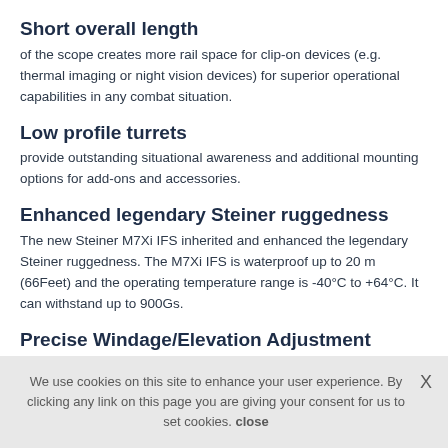Short overall length
of the scope creates more rail space for clip-on devices (e.g. thermal imaging or night vision devices) for superior operational capabilities in any combat situation.
Low profile turrets
provide outstanding situational awareness and additional mounting options for add-ons and accessories.
Enhanced legendary Steiner ruggedness
The new Steiner M7Xi IFS inherited and enhanced the legendary Steiner ruggedness. The M7Xi IFS is waterproof up to 20 m (66Feet) and the operating temperature range is -40°C to +64°C. It can withstand up to 900Gs.
Precise Windage/Elevation Adjustment
is easy and immediate for repeated accuracy, with tactile click-by-click feedback you can hear and feel and second rotation indicator.
We use cookies on this site to enhance your user experience. By clicking any link on this page you are giving your consent for us to set cookies. close